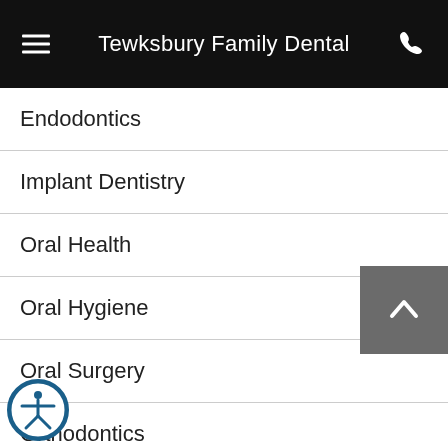Tewksbury Family Dental
Endodontics
Implant Dentistry
Oral Health
Oral Hygiene
Oral Surgery
Orthodontics
Pediatric Dentistry
Periodontal Therapy
[Figure (other): Scroll to top button with upward chevron arrow on grey background]
[Figure (other): Accessibility icon - person in circle with blue border]